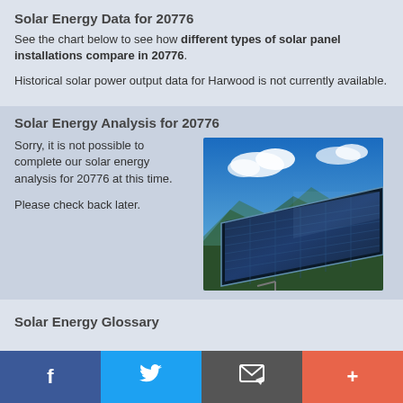Solar Energy Data for 20776
See the chart below to see how different types of solar panel installations compare in 20776.
Historical solar power output data for Harwood is not currently available.
Solar Energy Analysis for 20776
Sorry, it is not possible to complete our solar energy analysis for 20776 at this time.

Please check back later.
[Figure (photo): Photo of solar panels against a blue sky with clouds]
Solar Energy Glossary
f  [Facebook]  [Twitter]  [Email]  +